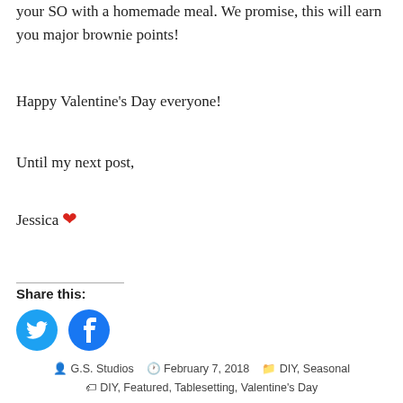your SO with a homemade meal. We promise, this will earn you major brownie points!
Happy Valentine’s Day everyone!
Until my next post,
Jessica ❤
Share this:
[Figure (other): Twitter and Facebook social share icon buttons (blue circles with bird and f logos)]
G.S. Studios   February 7, 2018   DIY, Seasonal   DIY, Featured, Tablesetting, Valentine’s Day